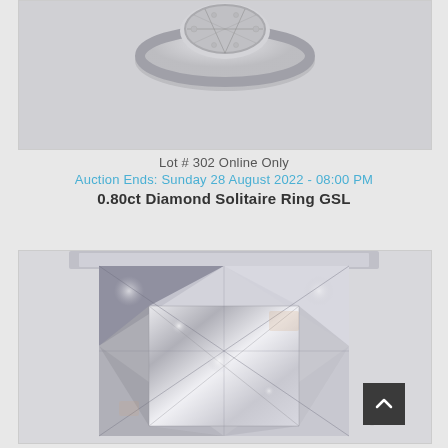[Figure (photo): Close-up photo of a diamond solitaire ring set in white metal, partially visible at top of page]
Lot # 302 Online Only
Auction Ends: Sunday 28 August 2022 - 08:00 PM
0.80ct Diamond Solitaire Ring GSL
[Figure (photo): Close-up macro photograph of a princess-cut diamond showing facets and light reflections]